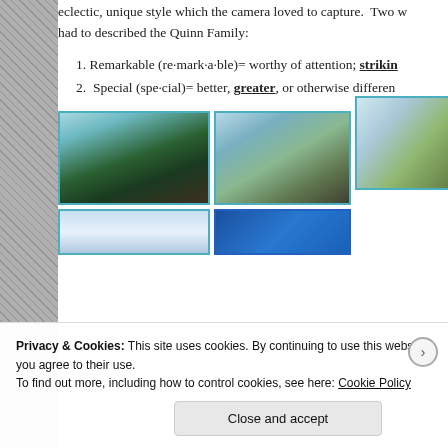eclectic, unique style which the camera loved to capture. Two w had to described the Quinn Family:
1. Remarkable (re·mark·a·ble)= worthy of attention; striking
2. Special (spe·cial)= better, greater, or otherwise differen
[Figure (photo): Family portrait photo - group of people outdoors with trees]
[Figure (photo): Family photo outdoors on a path with desert vegetation]
[Figure (photo): Nature/landscape photo with grass and light]
[Figure (photo): Sky/clouds photo]
[Figure (photo): Blue abstract/sky photo]
Privacy & Cookies: This site uses cookies. By continuing to use this website, you agree to their use.
To find out more, including how to control cookies, see here: Cookie Policy
Close and accept